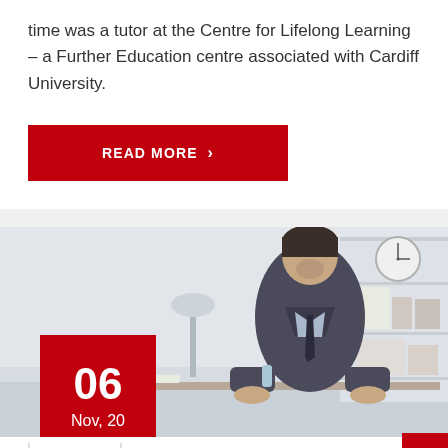time was a tutor at the Centre for Lifelong Learning – a Further Education centre associated with Cardiff University.
READ MORE >
[Figure (photo): A man in a dark suit leaning over a desk in an office setting. A wall clock and shelving unit are visible in the background. A red date badge overlays the lower-left corner showing '06 Nov, 20'.]
06
Nov, 20